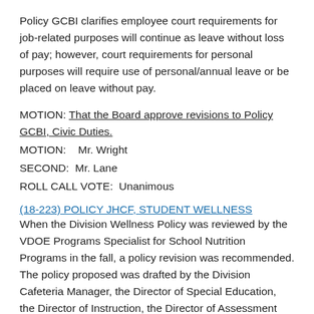Policy GCBI clarifies employee court requirements for job-related purposes will continue as leave without loss of pay; however, court requirements for personal purposes will require use of personal/annual leave or be placed on leave without pay.
MOTION: That the Board approve revisions to Policy GCBI, Civic Duties.
MOTION:   Mr. Wright
SECOND:  Mr. Lane
ROLL CALL VOTE:  Unanimous
(18-223) POLICY JHCF, STUDENT WELLNESS
When the Division Wellness Policy was reviewed by the VDOE Programs Specialist for School Nutrition Programs in the fall, a policy revision was recommended. The policy proposed was drafted by the Division Cafeteria Manager, the Director of Special Education, the Director of Instruction, the Director of Assessment and Accountability, the School Nurse Coordinator, and a health and physical education teacher based on the template